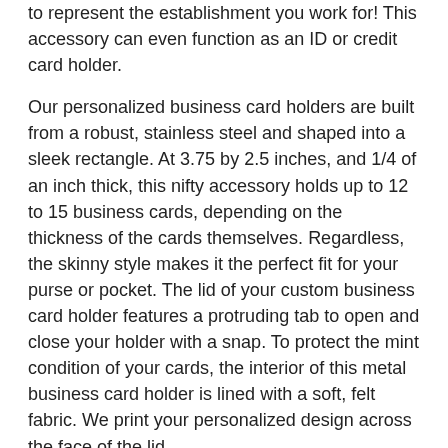to represent the establishment you work for! This accessory can even function as an ID or credit card holder.
Our personalized business card holders are built from a robust, stainless steel and shaped into a sleek rectangle. At 3.75 by 2.5 inches, and 1/4 of an inch thick, this nifty accessory holds up to 12 to 15 business cards, depending on the thickness of the cards themselves. Regardless, the skinny style makes it the perfect fit for your purse or pocket. The lid of your custom business card holder features a protruding tab to open and close your holder with a snap. To protect the mint condition of your cards, the interior of this metal business card holder is lined with a soft, felt fabric. We print your personalized design across the face of the lid.
To clean your pocket business card holder, we recommend wiping it down with a dampened cloth and some mild detergent if needed. Allow to air dry or blot with a dry paper towel.
Features:
Fabricated from a robust, stainless steel
Shaped into sleek rectangle